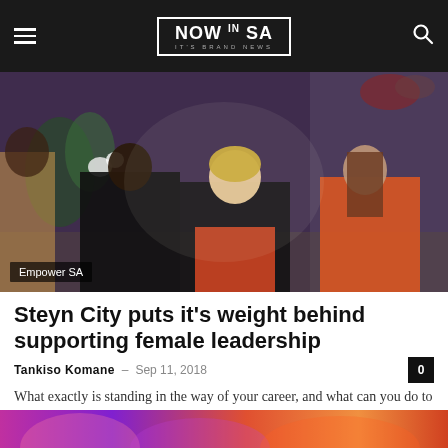NOW IN SA — IT'S BRAND NEWS
[Figure (photo): Panel of women seated at an event, including a blonde woman in black dress with orange skirt speaking animatedly, a Black woman in black dress, and a woman in orange dress. Flowers and drapes visible in background. Label 'Empower SA' in bottom left corner.]
Steyn City puts it's weight behind supporting female leadership
Tankiso Komane – Sep 11, 2018   0
What exactly is standing in the way of your career, and what can you do to change it? If you believe that it's time...
[Figure (photo): Bottom strip showing colorful abstract fire/flame image in purple, orange and red tones.]